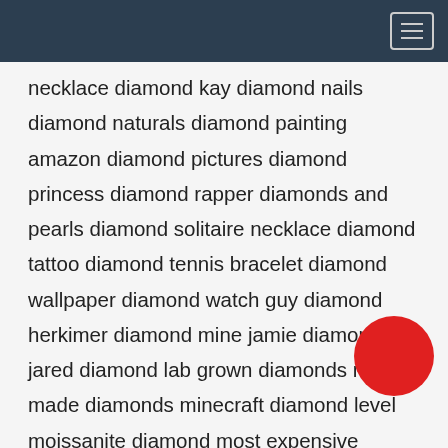necklace diamond kay diamond nails diamond naturals diamond painting amazon diamond pictures diamond princess diamond rapper diamonds and pearls diamond solitaire necklace diamond tattoo diamond tennis bracelet diamond wallpaper diamond watch guy diamond herkimer diamond mine jamie diamond jared diamond lab grown diamonds man made diamonds minecraft diamond level moissanite diamond most expensive diamond pear shaped diamond pink diamond ring